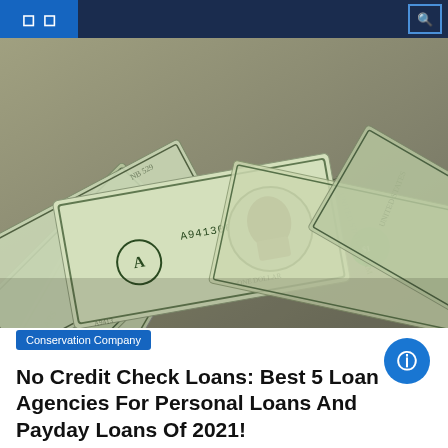Navigation header with icons
[Figure (photo): Fan of US dollar bills ($1 and $5 notes) spread out showing portraits of Washington and Lincoln, serial numbers visible (A94130679C)]
Conservation Company
No Credit Check Loans: Best 5 Loan Agencies For Personal Loans And Payday Loans Of 2021!